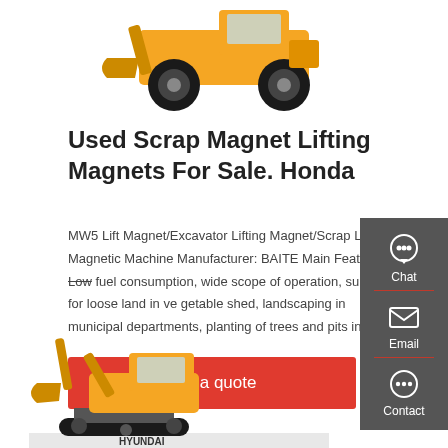[Figure (photo): Yellow front loader / wheel loader construction machine viewed from the front, showing large tires and bucket raised.]
Used Scrap Magnet Lifting Magnets For Sale. Honda
MW5 Lift Magnet/Excavator Lifting Magnet/Scrap Lifting Magnetic Machine Manufacturer: BAITE Main Features: Low fuel consumption, wide scope of operation, suitable for loose land in ve getable shed, landscaping in municipal departments, planting of trees and pits in …
Get a quote
[Figure (photo): Yellow Hyundai excavator arm and cab, partially visible at the bottom of the page.]